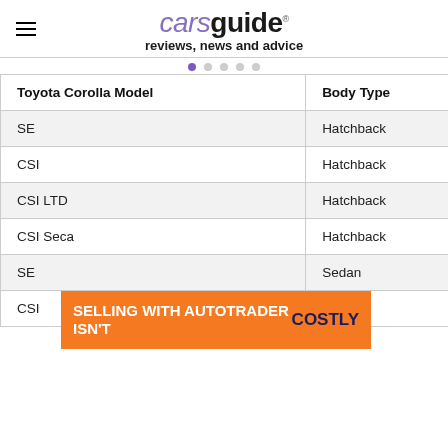carsguide reviews, news and advice
| Toyota Corolla Model | Body Type |
| --- | --- |
| SE | Hatchback |
| CSI | Hatchback |
| CSI LTD | Hatchback |
| CSI Seca | Hatchback |
| SE | Sedan |
| CSI |  |
[Figure (infographic): Orange advertisement banner: SELLING WITH AUTOTRADER ISN'T COSTLY]